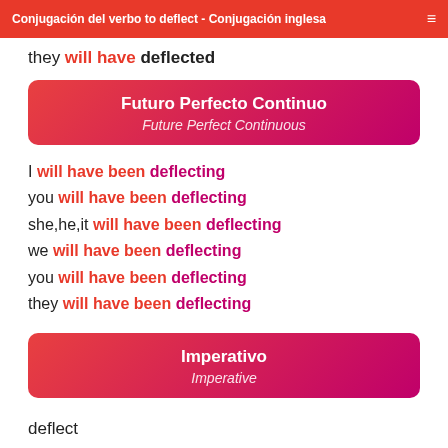Conjugación del verbo to deflect - Conjugación inglesa
they will have deflected
Futuro Perfecto Continuo / Future Perfect Continuous
I will have been deflecting
you will have been deflecting
she,he,it will have been deflecting
we will have been deflecting
you will have been deflecting
they will have been deflecting
Imperativo / Imperative
deflect
let's deflect
deflect